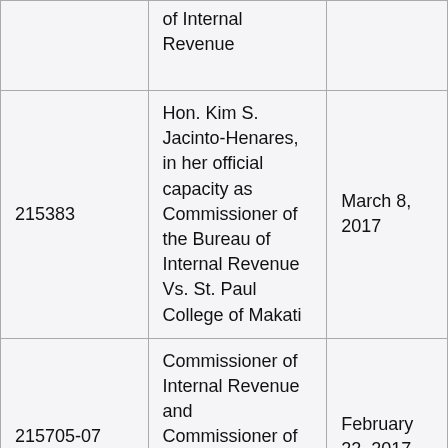|  | of Internal Revenue |  |
| 215383 | Hon. Kim S. Jacinto-Henares, in her official capacity as Commissioner of the Bureau of Internal Revenue Vs. St. Paul College of Makati | March 8, 2017 |
| 215705-07 | Commissioner of Internal Revenue and Commissioner of Customs Vs. Philippine Airlines, Inc. | February 22, 2017 |
| 202514 | Commissioner of Internal Revenue Vs. | February |